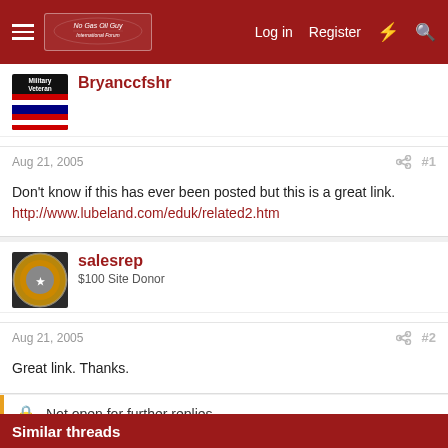Log in  Register
Bryanccfshr
Aug 21, 2005  #1
Don't know if this has ever been posted but this is a great link.
http://www.lubeland.com/eduk/related2.htm
salesrep
$100 Site Donor
Aug 21, 2005  #2
Great link. Thanks.
Not open for further replies.
Similar threads